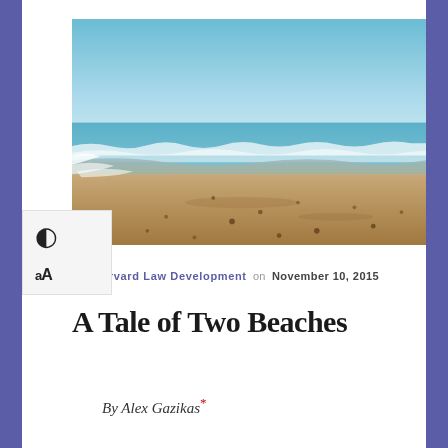[Figure (photo): A wide beach photograph showing calm ocean waves on the left side, wet sandy shore in the middle and foreground, with scattered dark pebbles or seaweed on the sand. The background shows a distant headland or low hills under a clear blue sky.]
by Harvard Law Development on November 10, 2015
A Tale of Two Beaches
By Alex Gazikas*